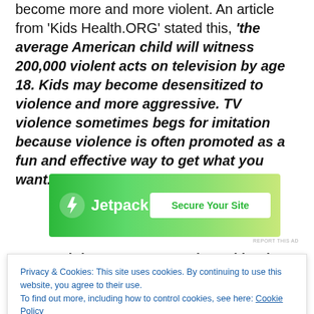become more and more violent. An article from 'Kids Health.ORG' stated this, 'the average American child will witness 200,000 violent acts on television by age 18. Kids may become desensitized to violence and more aggressive. TV violence sometimes begs for imitation because violence is often promoted as a fun and effective way to get what you want.
[Figure (other): Jetpack advertisement banner with green gradient background, Jetpack logo with lightning bolt icon, and 'Secure Your Site' white button]
Privacy & Cookies: This site uses cookies. By continuing to use this website, you agree to their use. To find out more, including how to control cookies, see here: Cookie Policy
understand the difference between right and wrong. And